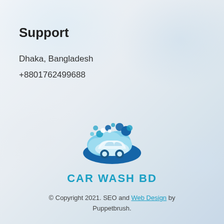Support
Dhaka, Bangladesh
+8801762499688
[Figure (logo): Car Wash BD logo: a cartoon car with soap bubbles on a cloud, in blue tones, with the text 'CAR WASH BD' below in teal/cyan bold uppercase letters]
© Copyright 2021. SEO and Web Design by Puppetbrush.